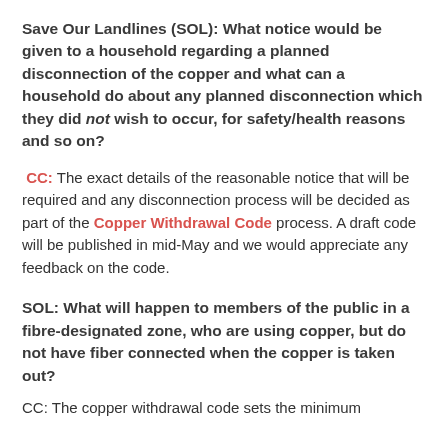Save Our Landlines (SOL): What notice would be given to a household regarding a planned disconnection of the copper and what can a household do about any planned disconnection which they did not wish to occur, for safety/health reasons and so on?
CC: The exact details of the reasonable notice that will be required and any disconnection process will be decided as part of the Copper Withdrawal Code process. A draft code will be published in mid-May and we would appreciate any feedback on the code.
SOL: What will happen to members of the public in a fibre-designated zone, who are using copper, but do not have fiber connected when the copper is taken out?
CC: The copper withdrawal code sets the minimum